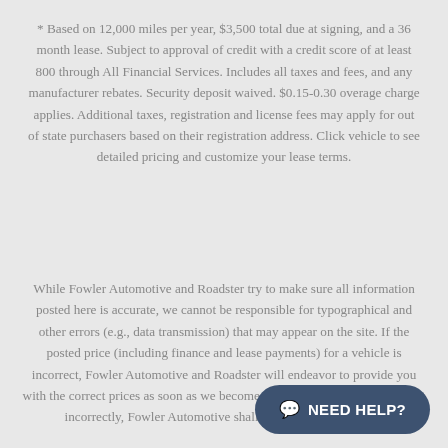* Based on 12,000 miles per year, $3,500 total due at signing, and a 36 month lease. Subject to approval of credit with a credit score of at least 800 through All Financial Services. Includes all taxes and fees, and any manufacturer rebates. Security deposit waived. $0.15-0.30 overage charge applies. Additional taxes, registration and license fees may apply for out of state purchasers based on their registration address. Click vehicle to see detailed pricing and customize your lease terms.
While Fowler Automotive and Roadster try to make sure all information posted here is accurate, we cannot be responsible for typographical and other errors (e.g., data transmission) that may appear on the site. If the posted price (including finance and lease payments) for a vehicle is incorrect, Fowler Automotive and Roadster will endeavor to provide you with the correct prices as soon as we become aware of the error. In the event incorrectly, Fowler Automotive shall have the right to refuse